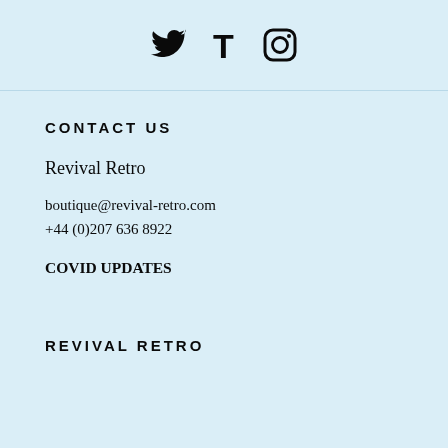[Figure (illustration): Social media icons: Twitter bird logo, Tumblr T logo, Instagram camera logo]
CONTACT US
Revival Retro
boutique@revival-retro.com
+44 (0)207 636 8922
COVID UPDATES
REVIVAL RETRO